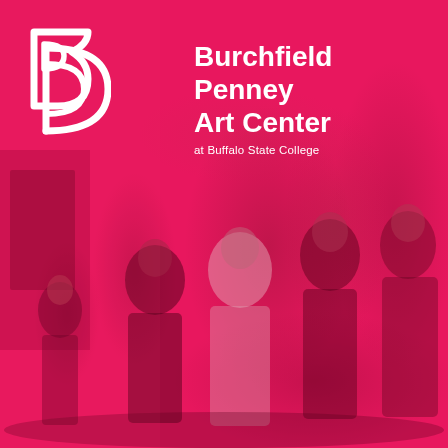[Figure (photo): Full-page cover image with a vivid pink/magenta color overlay showing a group of school-age children standing in an art gallery, looking at artwork on the walls. The pink overlay gives the photo a monochromatic rose-magenta tone.]
Burchfield Penney Art Center
at Buffalo State College